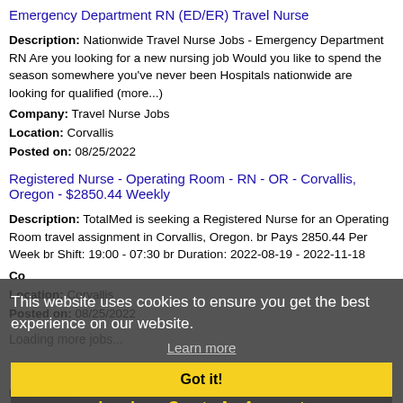Emergency Department RN (ED/ER) Travel Nurse
Description: Nationwide Travel Nurse Jobs - Emergency Department RN Are you looking for a new nursing job Would you like to spend the season somewhere you've never been Hospitals nationwide are looking for qualified (more...)
Company: Travel Nurse Jobs
Location: Corvallis
Posted on: 08/25/2022
Registered Nurse - Operating Room - RN - OR - Corvallis, Oregon - $2850.44 Weekly
Description: TotalMed is seeking a Registered Nurse for an Operating Room travel assignment in Corvallis, Oregon. br Pays 2850.44 Per Week br Shift: 19:00 - 07:30 br Duration: 2022-08-19 - 2022-11-18
Company: TotalMed Staffing
Location: Corvallis
Posted on: 08/25/2022
Loading more jobs...
This website uses cookies to ensure you get the best experience on our website.
Learn more
Got it!
Log In or Create An Account
Username: